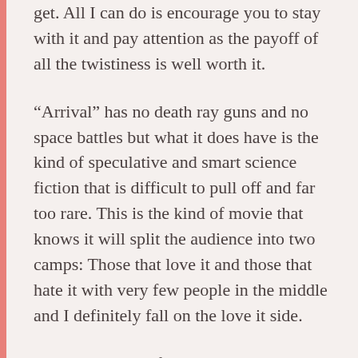get. All I can do is encourage you to stay with it and pay attention as the payoff of all the twistiness is well worth it.
“Arrival” has no death ray guns and no space battles but what it does have is the kind of speculative and smart science fiction that is difficult to pull off and far too rare. This is the kind of movie that knows it will split the audience into two camps: Those that love it and those that hate it with very few people in the middle and I definitely fall on the love it side.
For all the scientific mumbo-jumbo, the story is far more personal and down-to-earth than one might expect. The focus of